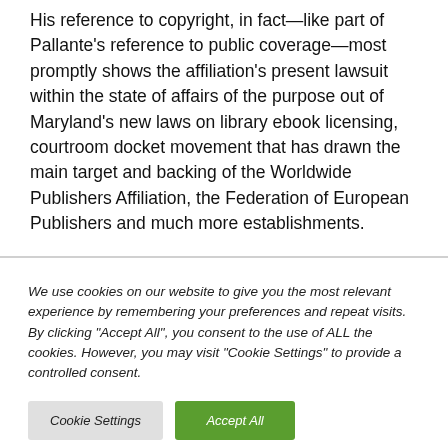His reference to copyright, in fact—like part of Pallante's reference to public coverage—most promptly shows the affiliation's present lawsuit within the state of affairs of the purpose out of Maryland's new laws on library ebook licensing, courtroom docket movement that has drawn the main target and backing of the Worldwide Publishers Affiliation, the Federation of European Publishers and much more establishments.
We use cookies on our website to give you the most relevant experience by remembering your preferences and repeat visits. By clicking "Accept All", you consent to the use of ALL the cookies. However, you may visit "Cookie Settings" to provide a controlled consent.